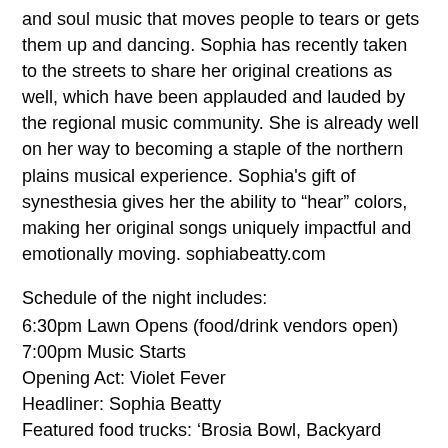and soul music that moves people to tears or gets them up and dancing. Sophia has recently taken to the streets to share her original creations as well, which have been applauded and lauded by the regional music community. She is already well on her way to becoming a staple of the northern plains musical experience. Sophia's gift of synesthesia gives her the ability to "hear" colors, making her original songs uniquely impactful and emotionally moving. sophiabeatty.com
Schedule of the night includes:
6:30pm Lawn Opens (food/drink vendors open)
7:00pm Music Starts
Opening Act: Violet Fever
Headliner: Sophia Beatty
Featured food trucks: 'Brosia Bowl, Backyard BBQ, and Old Skool Jersey Rippers & Balls
Sponsored by: Hegg Realtors, Avera, and 2022 Season Presenting Sponsor Sanford Health
Join us on the Lloyd Lawn at the Levitt for this free outdoor